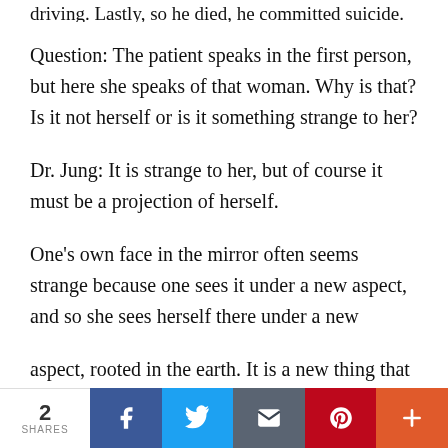driving. Lastly, so he died, he committed suicide.
Question: The patient speaks in the first person, but here she speaks of that woman. Why is that? Is it not herself or is it something strange to her?
Dr. Jung: It is strange to her, but of course it must be a projection of herself.
One’s own face in the mirror often seems strange because one sees it under a new aspect, and so she sees herself there under a new
aspect, rooted in the earth. It is a new thing that comes to her which she has apparently not foreseen.
2 SHARES | Facebook | Twitter | Email | Pinterest | More